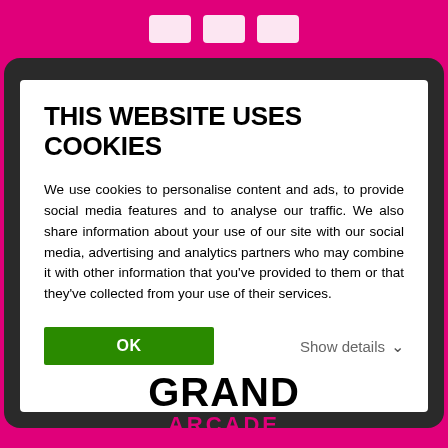[Figure (screenshot): Top magenta bar with three white rectangular social media icon placeholders]
THIS WEBSITE USES COOKIES
We use cookies to personalise content and ads, to provide social media features and to analyse our traffic. We also share information about your use of our site with our social media, advertising and analytics partners who may combine it with other information that you've provided to them or that they've collected from your use of their services.
OK
Show details
[Figure (logo): Grand Arcade logo — GRAND in bold black text, ARCADE in magenta below]